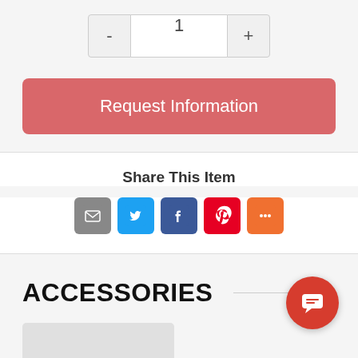[Figure (screenshot): Quantity selector with minus button, input showing 1, and plus button]
[Figure (screenshot): Request Information button in salmon/red color]
Share This Item
[Figure (screenshot): Social share icons: Email (grey), Twitter (blue), Facebook (blue), Pinterest (red), More (orange)]
ACCESSORIES
[Figure (screenshot): Chat bubble icon button (red circle with message lines) in bottom right corner]
[Figure (screenshot): Product thumbnail area at bottom left]